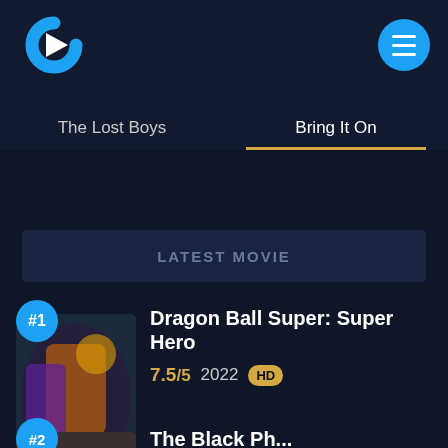[Figure (logo): Streaming app logo with a blue C shape and white play triangle]
[Figure (illustration): Blue circular hamburger menu button with three white horizontal lines]
The Lost Boys
Bring It On
LATEST MOVIE
#1
[Figure (illustration): Dragon Ball Super: Super Hero movie poster thumbnail]
Dragon Ball Super: Super Hero
7.5/5  2022  HD
[Figure (illustration): Partially visible second movie poster thumbnail]
The Black Ph...